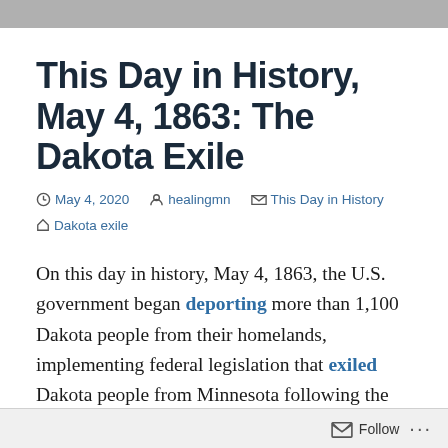This Day in History, May 4, 1863: The Dakota Exile
May 4, 2020 · healingmn · This Day in History · Dakota exile
On this day in history, May 4, 1863, the U.S. government began deporting more than 1,100 Dakota people from their homelands, implementing federal legislation that exiled Dakota people from Minnesota following the Dakota-U.S. War. On May 4 and 5, steamships took more than 1,100 Dakota women, children,
Follow